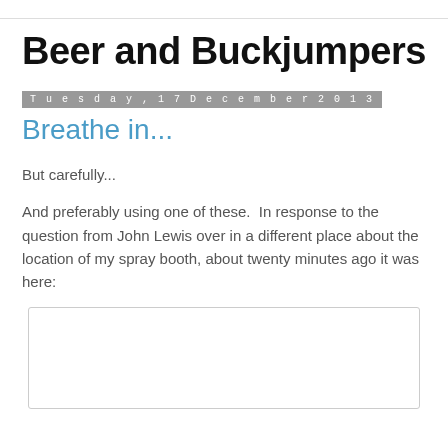Beer and Buckjumpers
Tuesday, 17 December 2013
Breathe in...
But carefully...
And preferably using one of these.  In response to the question from John Lewis over in a different place about the location of my spray booth, about twenty minutes ago it was here:
[Figure (photo): Photo placeholder (white rectangle with rounded border)]